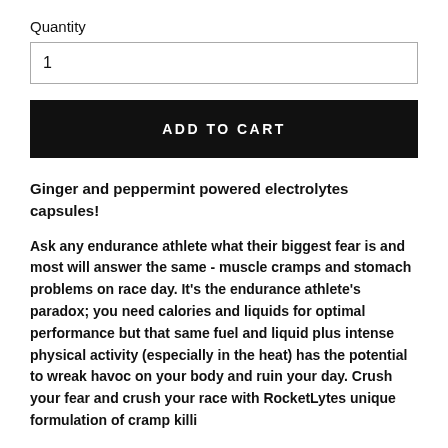Quantity
1
ADD TO CART
Ginger and peppermint powered electrolytes capsules!
Ask any endurance athlete what their biggest fear is and most will answer the same - muscle cramps and stomach problems on race day. It’s the endurance athlete’s paradox; you need calories and liquids for optimal performance but that same fuel and liquid plus intense physical activity (especially in the heat) has the potential to wreak havoc on your body and ruin your day. Crush your fear and crush your race with RocketLytes unique formulation of cramp killing electrolytes and stomach soothing ginger and